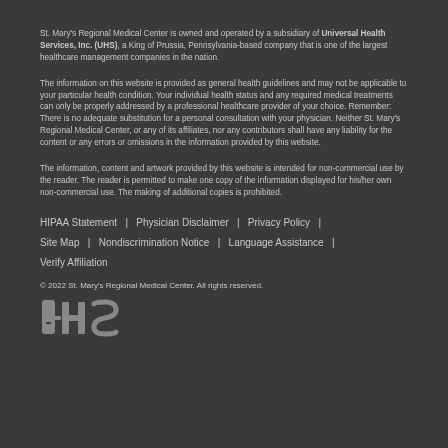St. Mary's Regional Medical Center is owned and operated by a subsidiary of Universal Health Services, Inc. (UHS), a King of Prussia, Pennsylvania-based company that is one of the largest healthcare management companies in the nation.
The information on this website is provided as general health guidelines and may not be applicable to your particular health condition. Your individual health status and any required medical treatments can only be properly addressed by a professional healthcare provider of your choice. Remember: There is no adequate substitution for a personal consultation with your physician. Neither St. Mary's Regional Medical Center, or any of its affiliates, nor any contributors shall have any liability for the content or any errors or omissions in the information provided by this website.
The information, content and artwork provided by this website is intended for non-commercial use by the reader. The reader is permitted to make one copy of the information displayed for his/her own non-commercial use. The making of additional copies is prohibited.
HIPAA Statement  |  Physician Disclaimer  |  Privacy Policy  |
Site Map  |  Nondiscrimination Notice  |  Language Assistance  |
Verify Affiliation
© 2022 St. Mary's Regional Medical Center. All rights reserved.
[Figure (logo): UHS logo in gray on dark background]